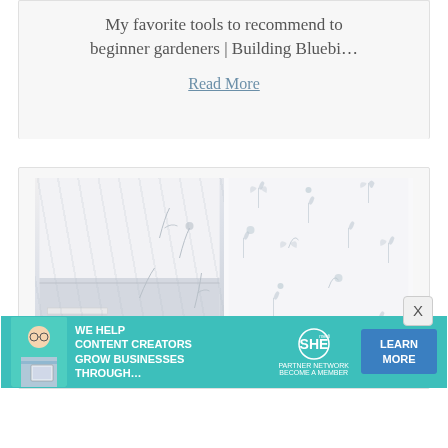My favorite tools to recommend to beginner gardeners | Building Bluebi…
Read More
[Figure (photo): Side-by-side before and after photo of a room with botanical/floral wallpaper installation]
[Figure (infographic): Advertisement banner: SHE Media Partner Network. Text: 'We help content creators grow businesses through...' with Learn More button]